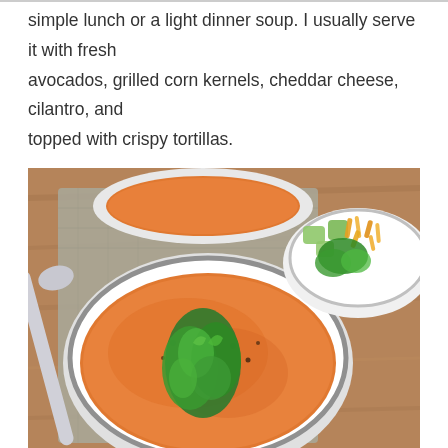simple lunch or a light dinner soup. I usually serve it with fresh avocados, grilled corn kernels, cheddar cheese, cilantro, and topped with crispy tortillas.
[Figure (photo): Overhead photo of two white ceramic bowls of orange/red tomato soup garnished with fresh cilantro and black pepper, accompanied by a bowl of toppings including avocado chunks, shredded cheddar cheese, and cilantro, served on a grey linen napkin on a wooden surface with a silver spoon.]